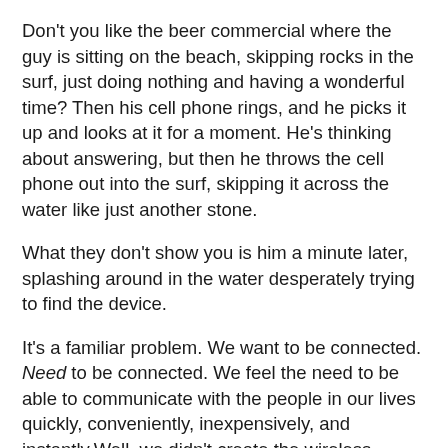Don't you like the beer commercial where the guy is sitting on the beach, skipping rocks in the surf, just doing nothing and having a wonderful time? Then his cell phone rings, and he picks it up and looks at it for a moment. He's thinking about answering, but then he throws the cell phone out into the surf, skipping it across the water like just another stone.
What they don't show you is him a minute later, splashing around in the water desperately trying to find the device.
It's a familiar problem. We want to be connected. Need to be connected. We feel the need to be able to communicate with the people in our lives quickly, conveniently, inexpensively, and instantly.Well, we didn't create the wireless, online, smartphone world we inhabit, did we? We just live here, and to live here we have to play by its rules. And that means having a computer in your pocket that's exponentially more powerful than the ones that filled entire rooms just a generation or two ago. Or lugging a laptop on a six-hour car trip.
At least on communication, the advice is don't to do...